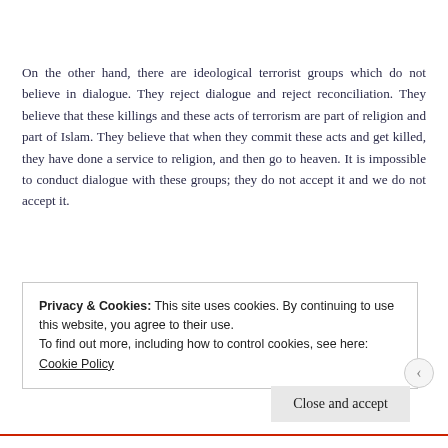On the other hand, there are ideological terrorist groups which do not believe in dialogue. They reject dialogue and reject reconciliation. They believe that these killings and these acts of terrorism are part of religion and part of Islam. They believe that when they commit these acts and get killed, they have done a service to religion, and then go to heaven. It is impossible to conduct dialogue with these groups; they do not accept it and we do not accept it.
Privacy & Cookies: This site uses cookies. By continuing to use this website, you agree to their use.
To find out more, including how to control cookies, see here: Cookie Policy